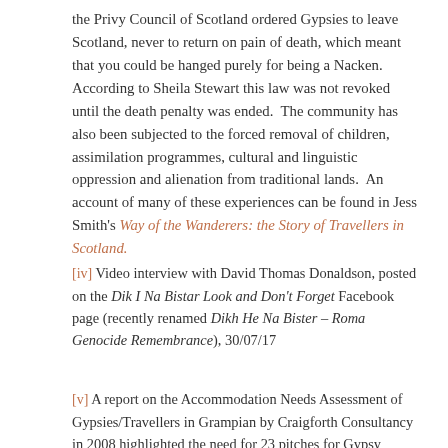the Privy Council of Scotland ordered Gypsies to leave Scotland, never to return on pain of death, which meant that you could be hanged purely for being a Nacken. According to Sheila Stewart this law was not revoked until the death penalty was ended.  The community has also been subjected to the forced removal of children, assimilation programmes, cultural and linguistic oppression and alienation from traditional lands.  An account of many of these experiences can be found in Jess Smith's Way of the Wanderers: the Story of Travellers in Scotland.
[iv] Video interview with David Thomas Donaldson, posted on the Dik I Na Bistar Look and Don't Forget Facebook page (recently renamed Dikh He Na Bister – Roma Genocide Remembrance), 30/07/17
[v] A report on the Accommodation Needs Assessment of Gypsies/Travellers in Grampian by Craigforth Consultancy in 2008 highlighted the need for 23 pitches for Gypsy